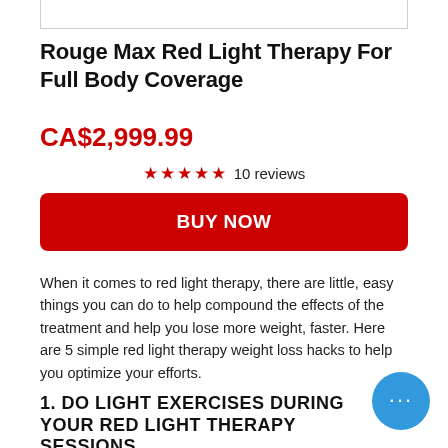Rouge Max Red Light Therapy For Full Body Coverage
CA$2,999.99
★★★★★ 10 reviews
BUY NOW
When it comes to red light therapy, there are little, easy things you can do to help compound the effects of the treatment and help you lose more weight, faster. Here are 5 simple red light therapy weight loss hacks to help you optimize your efforts.
1. DO LIGHT EXERCISES DURING YOUR RED LIGHT THERAPY SESSIONS